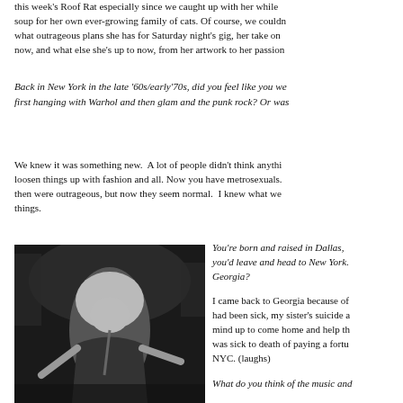this week's Roof Rat especially since we caught up with her while she was making soup for her own ever-growing family of cats. Of course, we couldn't wait to find out what outrageous plans she has for Saturday night's gig, her take on the music scene now, and what else she's up to now, from her artwork to her passion…
Back in New York in the late '60s/early'70s, did you feel like you were at the center, first hanging with Warhol and then glam and the punk rock? Or was…
We knew it was something new. A lot of people didn't think anything…loosen things up with fashion and all. Now you have metrosexuals…then were outrageous, but now they seem normal. I knew what we…things.
[Figure (photo): Black and white performance photo of a female performer on stage, appearing energetic and bold, likely a punk or glam rock artist.]
You're born and raised in Dallas, you'd leave and head to New York. Georgia?
I came back to Georgia because of… had been sick, my sister's suicide a… mind up to come home and help th… was sick to death of paying a fortu… NYC. (laughs)
What do you think of the music and…